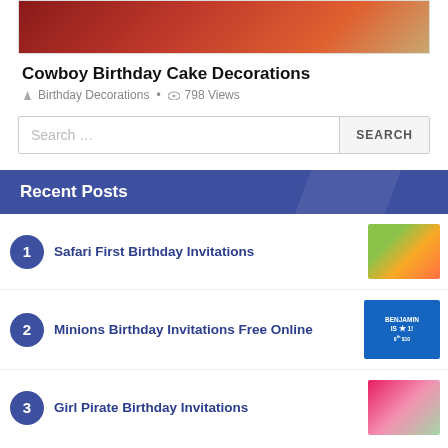[Figure (photo): Cowboy birthday cake with red bandana-like decoration]
Cowboy Birthday Cake Decorations
Birthday Decorations · 798 Views
Search …
Recent Posts
1. Safari First Birthday Invitations
2. Minions Birthday Invitations Free Online
3. Girl Pirate Birthday Invitations